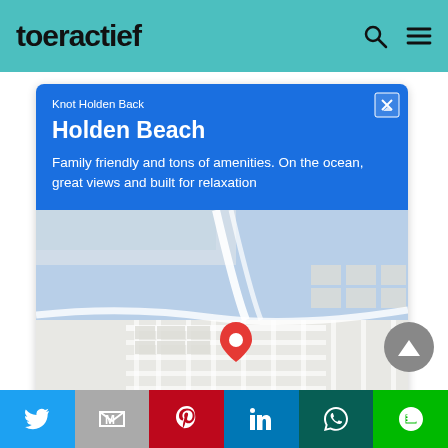toeractief
[Figure (screenshot): Google Maps advertisement card for 'Holden Beach' by 'Knot Holden Back'. Blue header section with text, map showing coastal area with red location pin, and two buttons: Directions and Call.]
Knot Holden Back
Holden Beach
Family friendly and tons of amenities. On the ocean, great views and built for relaxation